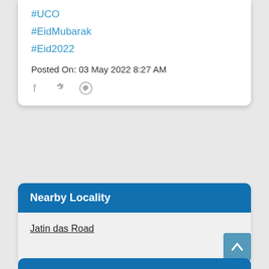#UCO
#EidMubarak
#Eid2022
Posted On: 03 May 2022 8:27 AM
[Figure (other): Social sharing icons: Facebook, Twitter, WhatsApp]
Nearby Locality
Jatin das Road